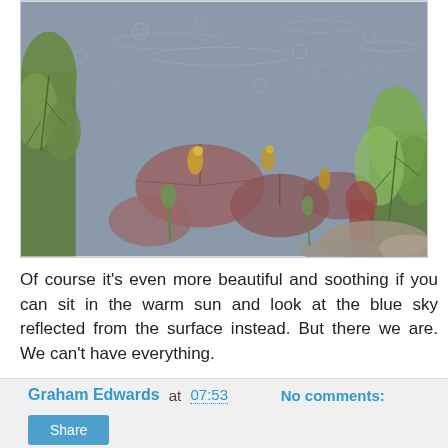[Figure (photo): A pond scene viewed from above showing water lilies with pinkish-brown lily pads and small golden buds, surrounded by green aquatic plants. The water surface is grey and rippled, with rocks visible at the lower right. Rain droplets appear on the water surface.]
Of course it's even more beautiful and soothing if you can sit in the warm sun and look at the blue sky reflected from the surface instead. But there we are. We can't have everything.
Graham Edwards at 07:53   No comments: